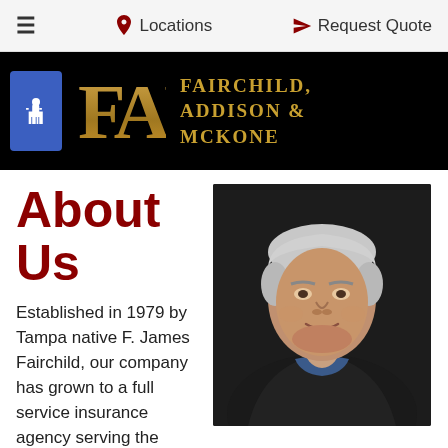≡   📍 Locations   ✈ Request Quote
[Figure (logo): Fairchild, Addison & McKone insurance agency logo with FAM letters in gold on black background, with accessibility icon]
About Us
Established in 1979 by Tampa native F. James Fairchild, our company has grown to a full service insurance agency serving the
[Figure (photo): Professional headshot portrait of an older man with white/silver hair, wearing a dark suit jacket and blue shirt, against a dark background]